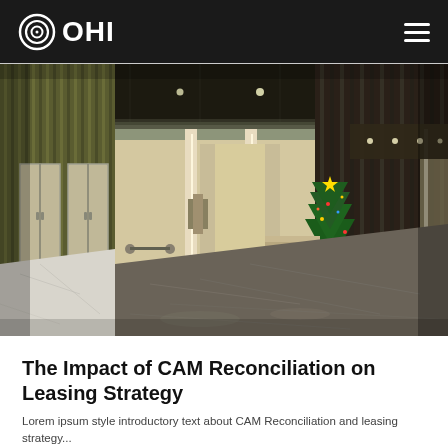OHI
[Figure (photo): Interior lobby of a modern commercial office building with marble floors, elevator banks, recessed lighting, dark wood accent walls, and a decorated Christmas tree with red poinsettias in the background.]
The Impact of CAM Reconciliation on Leasing Strategy
Lorem ipsum style introductory text about CAM Reconciliation and leasing strategy...